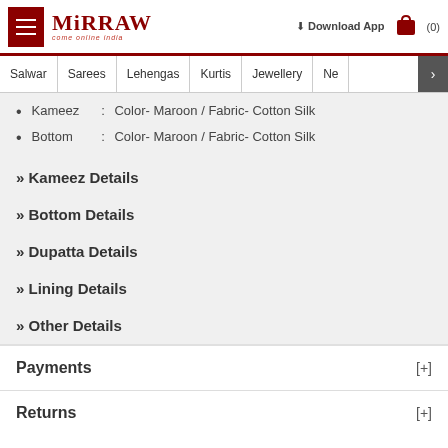Mirraw – Download App (0)
Salwar | Sarees | Lehengas | Kurtis | Jewellery | Ne >
Kameez : Color- Maroon / Fabric- Cotton Silk
Bottom : Color- Maroon / Fabric- Cotton Silk
» Kameez Details
» Bottom Details
» Dupatta Details
» Lining Details
» Other Details
Payments [+]
Returns [+]